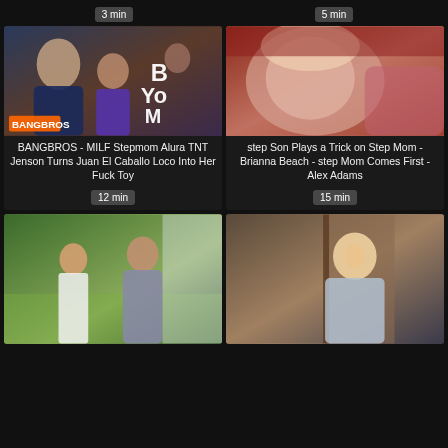3 min
5 min
[Figure (photo): Thumbnail for BANGBROS video]
[Figure (photo): Thumbnail for step Son Plays a Trick video]
BANGBROS - MILF Stepmom Alura TNT Jenson Turns Juan El Caballo Loco Into Her Fuck Toy
12 min
step Son Plays a Trick on Step Mom - Brianna Beach - step Mom Comes First - Alex Adams
15 min
[Figure (photo): Thumbnail for third video]
[Figure (photo): Thumbnail for fourth video]